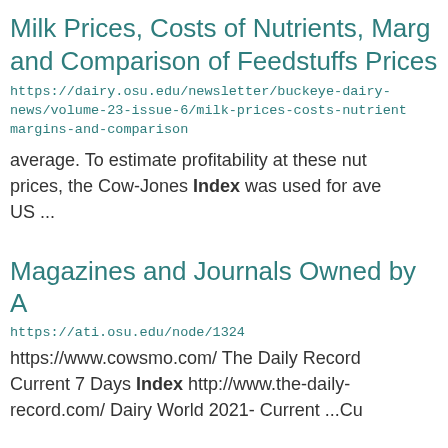Milk Prices, Costs of Nutrients, Marg and Comparison of Feedstuffs Prices
https://dairy.osu.edu/newsletter/buckeye-dairy-news/volume-23-issue-6/milk-prices-costs-nutrients-margins-and-comparison
average. To estimate profitability at these nut prices, the Cow-Jones Index was used for ave US ...
Magazines and Journals Owned by A
https://ati.osu.edu/node/1324
https://www.cowsmo.com/ The Daily Record Current 7 Days Index http://www.the-daily-record.com/ Dairy World 2021- Current ...Cu